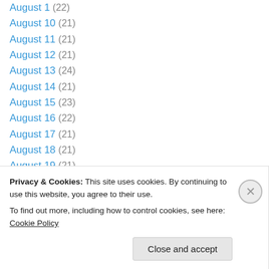August 1 (22)
August 10 (21)
August 11 (21)
August 12 (21)
August 13 (24)
August 14 (21)
August 15 (23)
August 16 (22)
August 17 (21)
August 18 (21)
August 19 (21)
August 2 (22)
August 20 (24)
August 21 (21)
Privacy & Cookies: This site uses cookies. By continuing to use this website, you agree to their use. To find out more, including how to control cookies, see here: Cookie Policy